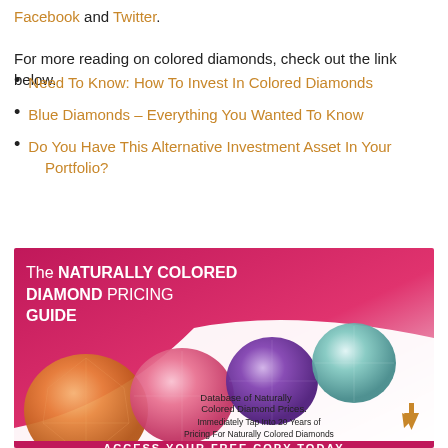Facebook and Twitter.
For more reading on colored diamonds, check out the link below.
Need To Know: How To Invest In Colored Diamonds
Blue Diamonds – Everything You Wanted To Know
Do You Have This Alternative Investment Asset In Your Portfolio?
[Figure (illustration): Promotional banner titled 'The NATURALLY COLORED DIAMOND PRICING GUIDE' showing four colored diamonds (orange, pink, purple, light blue/green) on a pink-to-white gradient background with text: 'Database of Naturally Colored Diamond Prices. Immediately Tap Into 20 Years of Pricing For Naturally Colored Diamonds' and a gold upward arrow, with text at bottom 'ACCESS YOUR FREE COPY TODAY']